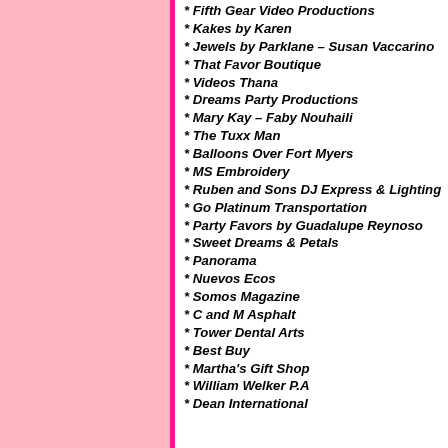* Fifth Gear Video Productions
* Kakes by Karen
* Jewels by Parklane – Susan Vaccarino
* That Favor Boutique
* Videos Thana
* Dreams Party Productions
* Mary Kay – Faby Nouhaili
* The Tuxx Man
* Balloons Over Fort Myers
* MS Embroidery
* Ruben and Sons DJ Express & Lighting
* Go Platinum Transportation
* Party Favors by Guadalupe Reynoso
* Sweet Dreams & Petals
* Panorama
* Nuevos Ecos
* Somos Magazine
* C and M Asphalt
* Tower Dental Arts
* Best Buy
* Martha's Gift Shop
* William Welker P.A
* Dean International